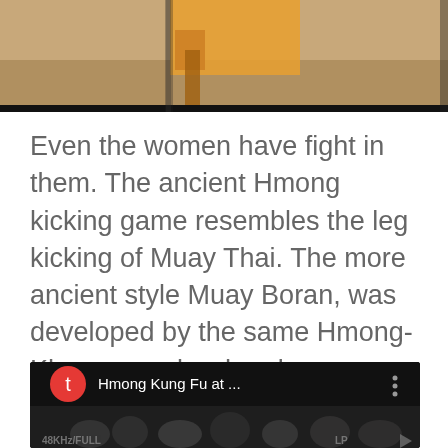[Figure (photo): Top portion of a photo showing an orange object and a blurred background scene]
Even the women have fight in them. The ancient Hmong kicking game resembles the leg kicking of Muay Thai. The more ancient style Muay Boran, was developed by the same Hmong-Khmer people who also developed Hmong martial arts from Chiyou.
[Figure (screenshot): Video thumbnail/player showing 'Hmong Kung Fu at ...' with a red circle avatar with white 't', three-dot menu, and a crowd of people in the background with text overlays '48KHz/FULL' and 'LP']